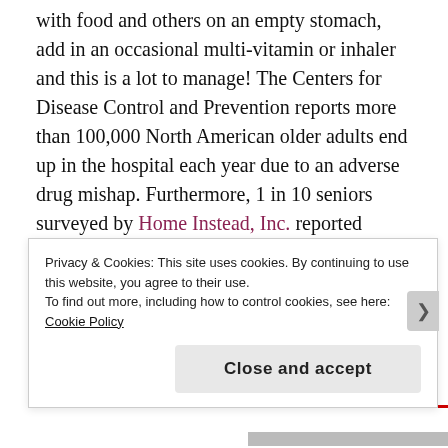with food and others on an empty stomach, add in an occasional multi-vitamin or inhaler and this is a lot to manage! The Centers for Disease Control and Prevention reports more than 100,000 North American older adults end up in the hospital each year due to an adverse drug mishap. Furthermore, 1 in 10 seniors surveyed by Home Instead, Inc. reported making mistakes, although unintentionally, when taking their medications and of those making a mistake, 11% have experienced a medical issue or emergency as a result. These numbers are alarming and should not be ignored. Preventing unnecessary
Privacy & Cookies: This site uses cookies. By continuing to use this website, you agree to their use.
To find out more, including how to control cookies, see here: Cookie Policy
Close and accept